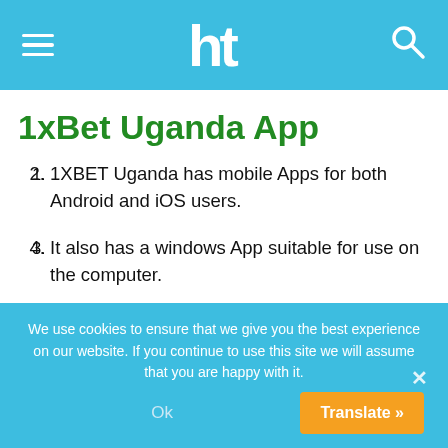1xBet Uganda App — site navigation header with hamburger menu, logo, and search icon
1xBet Uganda App
1XBET Uganda has mobile Apps for both Android and iOS users.
It also has a windows App suitable for use on the computer.
For a 1XBET Uganda App update, delete your App and download a fresh version from any of the following links;
We use cookies to ensure that we give you the best experience on our website. If you continue to use this site we will assume that you are happy with it.